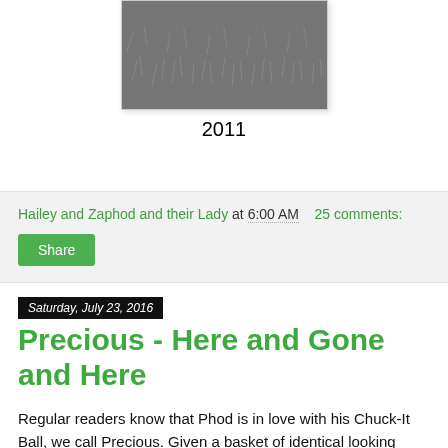[Figure (photo): Black and white photo of dense grass or foliage, centered on the page.]
2011
Hailey and Zaphod and their Lady at 6:00 AM    25 comments:
Share
Saturday, July 23, 2016
Precious - Here and Gone and Here
Regular readers know that Phod is in love with his Chuck-It Ball, we call Precious. Given a basket of identical looking balls, he has a favourite Precious.